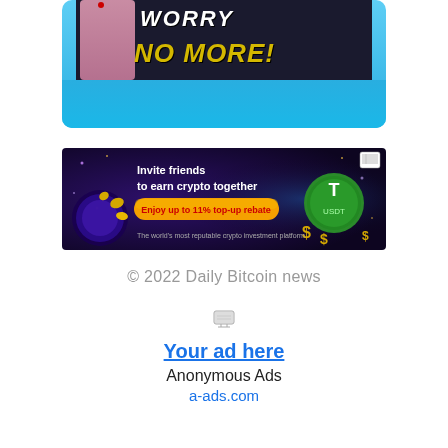[Figure (screenshot): Top banner with light blue background showing a cartoon character and text 'WORRY NO MORE!' in yellow bold letters on dark background]
[Figure (screenshot): Crypto advertisement banner: 'Invite friends to earn crypto together. Enjoy up to 11% top-up rebate. The world's most reputable crypto investment platform.' with USDT coin graphic on dark purple background]
© 2022 Daily Bitcoin news
[Figure (other): Anonymous Ads placeholder with monitor icon, 'Your ad here' link, 'Anonymous Ads' text, and 'a-ads.com' link]